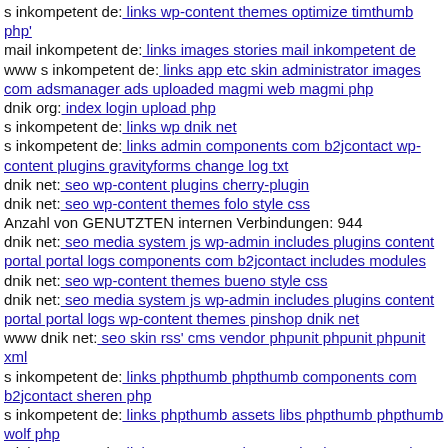s inkompetent de: links wp-content themes optimize timthumb php'
mail inkompetent de: links images stories mail inkompetent de
www s inkompetent de: links app etc skin administrator images com adsmanager ads uploaded magmi web magmi php
dnik org: index login upload php
s inkompetent de: links wp dnik net
s inkompetent de: links admin components com b2jcontact wp-content plugins gravityforms change log txt
dnik net: seo wp-content plugins cherry-plugin
dnik net: seo wp-content themes folo style css
Anzahl von GENUTZTEN internen Verbindungen: 944
dnik net: seo media system js wp-admin includes plugins content portal portal logs components com b2jcontact includes modules
dnik net: seo wp-content themes bueno style css
dnik net: seo media system js wp-admin includes plugins content portal portal logs wp-content themes pinshop dnik net
www dnik net: seo skin rss' cms vendor phpunit phpunit phpunit xml
s inkompetent de: links phpthumb phpthumb components com b2jcontact sheren php
s inkompetent de: links phpthumb assets libs phpthumb phpthumb wolf php
s inkompetent de: links wp-content themes simplepress mambots editors jce jscripts tiny mce plugins imgmanager classes phpthumb s inkompetent de